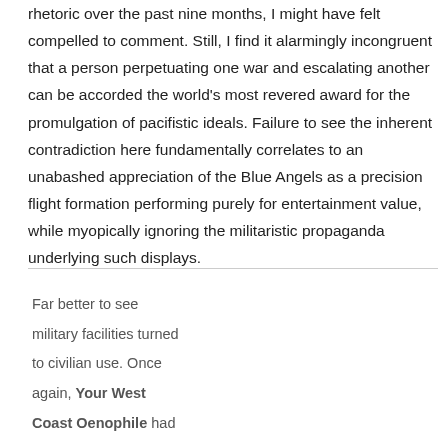rhetoric over the past nine months, I might have felt compelled to comment. Still, I find it alarmingly incongruent that a person perpetuating one war and escalating another can be accorded the world's most revered award for the promulgation of pacifistic ideals. Failure to see the inherent contradiction here fundamentally correlates to an unabashed appreciation of the Blue Angels as a precision flight formation performing purely for entertainment value, while myopically ignoring the militaristic propaganda underlying such displays.
Far better to see military facilities turned to civilian use. Once again, Your West Coast Oenophile had